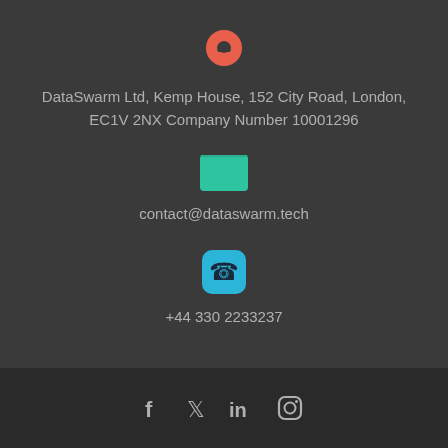[Figure (illustration): Red/salmon map pin location icon]
DataSwarm Ltd, Kemp House, 152 City Road, London, EC1V 2NX Company Number 10001296
[Figure (illustration): Green envelope/email icon]
contact@dataswarm.tech
[Figure (illustration): Cyan/blue rounded square phone icon]
+44 330 2233237
[Figure (illustration): Social media icons: Facebook, Twitter, LinkedIn, Instagram]